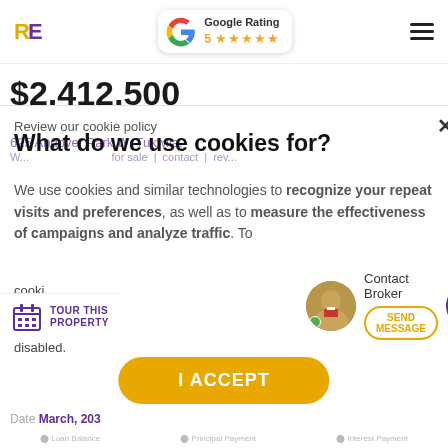RE | Google Rating 5 ★★★★★
$2,412,500
Parkwest Commons - Building 625
625 Andover Park W, Tukwila, W...
Review our cookie policy
What do we use cookies for?
We use cookies and similar technologies to recognize your repeat visits and preferences, as well as to measure the effectiveness of campaigns and analyze traffic. To...
TOUR THIS PROPERTY
Contact Broker | SEND MESSAGE
I ACCEPT
Date March, 203...